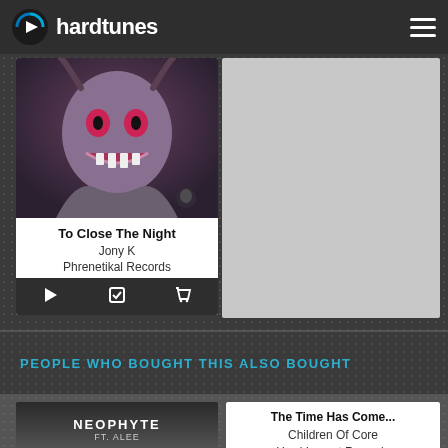hardtunes
[Figure (photo): Album art for 'To Close The Night' by Jony K — dark fantasy monster creature with horns and sharp teeth]
To Close The Night
Jony K
Phrenetikal Records
PEOPLE WHO BOUGHT THIS ALSO BOUGHT
[Figure (photo): Album art for Neophyte ft. Alee — dark industrial image with text NEOPHYTE FT. ALEE]
The Time Has Come...
Children Of Core
Hard Impact Records